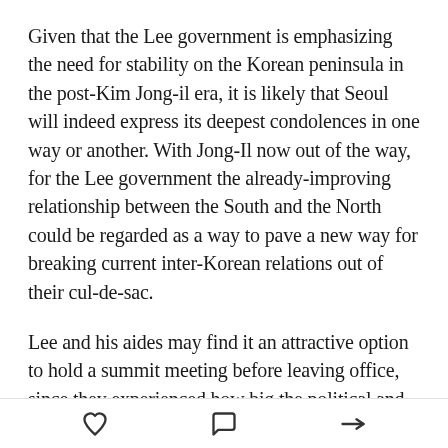Given that the Lee government is emphasizing the need for stability on the Korean peninsula in the post-Kim Jong-il era, it is likely that Seoul will indeed express its deepest condolences in one way or another. With Jong-Il now out of the way, for the Lee government the already-improving relationship between the South and the North could be regarded as a way to pave a new way for breaking current inter-Korean relations out of their cul-de-sac.
Lee and his aides may find it an attractive option to hold a summit meeting before leaving office, since they experienced how big the political and economic impact was in the wake of the inter-Korean summits in 2000 and 2007. Although North Korea also recently
[heart icon] [comment icon] [share icon]